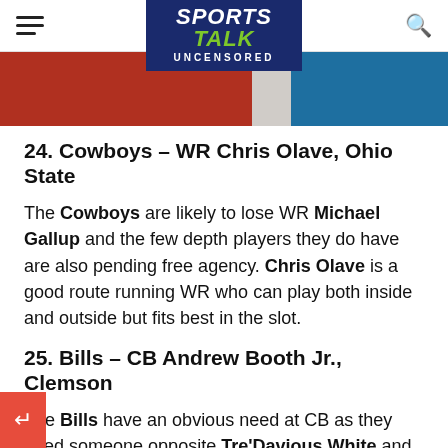Sports Talk Uncensored
[Figure (photo): Partial image of athletes in red and blue uniforms visible at the top of the page as a banner strip]
24. Cowboys – WR Chris Olave, Ohio State
The Cowboys are likely to lose WR Michael Gallup and the few depth players they do have are also pending free agency. Chris Olave is a good route running WR who can play both inside and outside but fits best in the slot.
25. Bills – CB Andrew Booth Jr., Clemson
The Bills have an obvious need at CB as they need someone opposite Tre'Davious White and lack of depth was even more obvious after his loss. Booth is a tall CB with good coverage skills and the ability